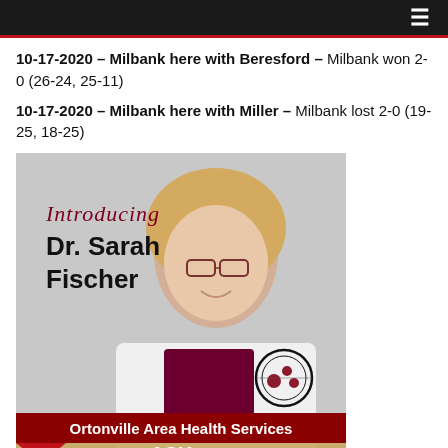Navigation header with hamburger menu
10-17-2020 – Milbank here with Beresford – Milbank won 2-0 (26-24, 25-11)
10-17-2020 – Milbank here with Miller – Milbank lost 2-0 (19-25, 18-25)
[Figure (photo): Promotional photo for Ortonville Area Health Services introducing Dr. Sarah Fischer, a woman in a white lab coat with blonde hair and glasses, smiling. Italic script 'Introducing' text overlaid on photo with bold 'Dr. Sarah Fischer' text. At the bottom a dark red banner reads 'Ortonville Area Health Services' with an organization logo, and below that a map background with 'ASK' text visible.]